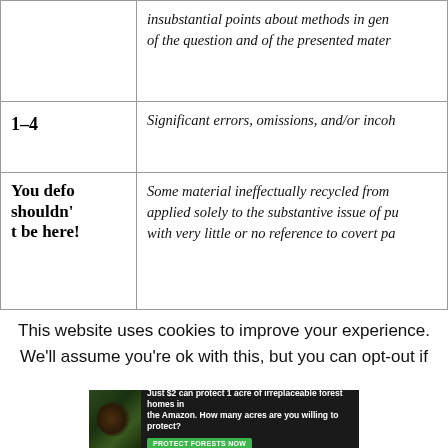| Score | Description |
| --- | --- |
| 1–4 | Significant errors, omissions, and/or incoherence… |
| You defo shouldn't be here! | Some material ineffectually recycled from… applied solely to the substantive issue of pu… with very little or no reference to covert pa… |
This website uses cookies to improve your experience. We'll assume you're ok with this, but you can opt-out if
[Figure (other): Advertisement banner: dark forest background with spider/animal image. Text reads: 'Just $2 can protect 1 acre of irreplaceable forest homes in the Amazon. How many acres are you willing to protect?' with green button 'PROTECT FORESTS NOW']